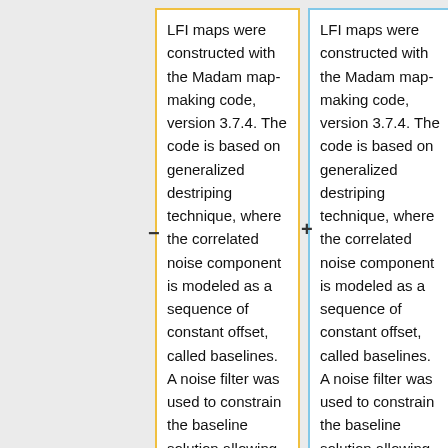LFI maps were constructed with the Madam map-making code, version 3.7.4. The code is based on generalized destriping technique, where the correlated noise component is modeled as a sequence of constant offset, called baselines. A noise filter was used to constrain the baseline solution allowing the use of 1 second baselines.
LFI maps were constructed with the Madam map-making code, version 3.7.4. The code is based on generalized destriping technique, where the correlated noise component is modeled as a sequence of constant offset, called baselines. A noise filter was used to constrain the baseline solution allowing the use of 0.25 s and 1 second baselines for the